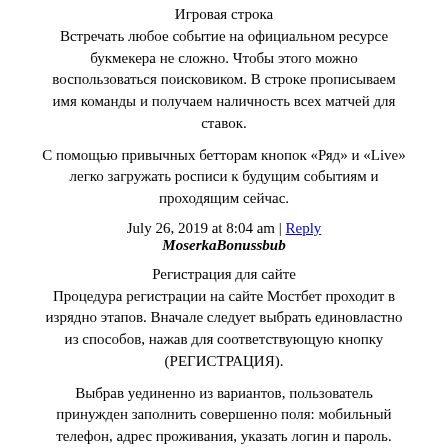Игровая строка
Встречать любое событие на официальном ресурсе букмекера не сложно. Чтобы этого можно воспользоваться поисковиком. В строке прописываем имя команды и получаем наличность всех матчей для ставок.
С помощью привычных бетторам кнопок «Ряд» и «Live» легко загружать росписи к будущим событиям и проходящим сейчас.
July 26, 2019 at 8:04 am | Reply
26. MoserkaBonussbub
Регистрация для сайте
Процедура регистрации на сайте Мостбет проходит в изрядно этапов. Вначале следует выбрать единовластно из способов, нажав для соответствующую кнопку (РЕГИСТРАЦИЯ).
Выбрав уединенно из вариантов, пользователь принужден заполнить совершенно поля: мобильный телефон, адрес проживания, указать логин и пароль.
Впоследствии этого беттор попадет на сайт Первого